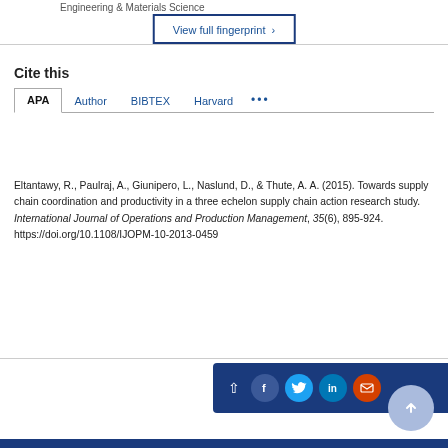Engineering & Materials Science
View full fingerprint ›
Cite this
APA  Author  BIBTEX  Harvard  ...
Eltantawy, R., Paulraj, A., Giunipero, L., Naslund, D., & Thute, A. A. (2015). Towards supply chain coordination and productivity in a three echelon supply chain action research study. International Journal of Operations and Production Management, 35(6), 895-924. https://doi.org/10.1108/IJOPM-10-2013-0459